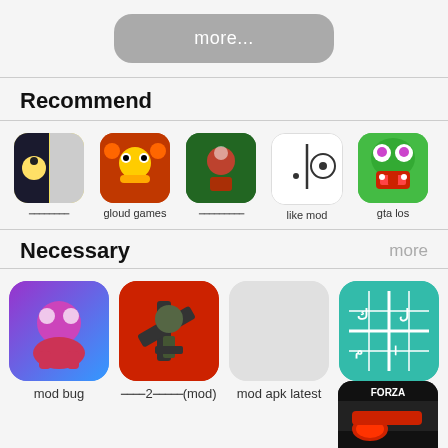more...
Recommend
[Figure (screenshot): Row of 5 app icons with names: (non-latin text), gloud games, (non-latin text), like mod, gta los]
Necessary  more
[Figure (screenshot): Row of 4 app icons with names: mod bug, (non-latin)2(non-latin)(mod), mod apk latest, Cruel Solitaire, and partial Forza icon]